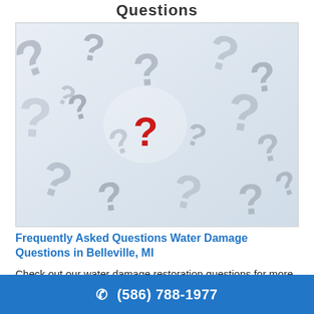Questions
[Figure (illustration): A pile of grey 3D question mark characters scattered across a white background, with one red question mark prominently in the center.]
Frequently Asked Questions Water Damage Questions in Belleville, MI
Check out our water damage restoration questions for more information on what to expect when you choose Anytime Restoration
☎ (586) 788-1977